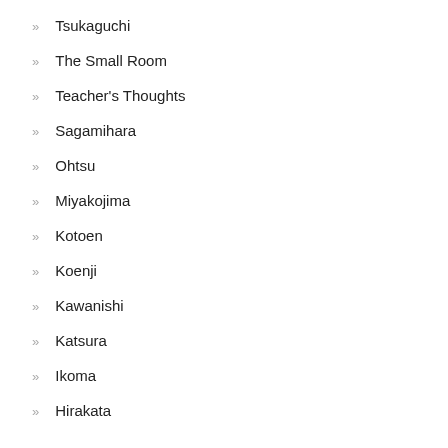Tsukaguchi
The Small Room
Teacher's Thoughts
Sagamihara
Ohtsu
Miyakojima
Kotoen
Koenji
Kawanishi
Katsura
Ikoma
Hirakata